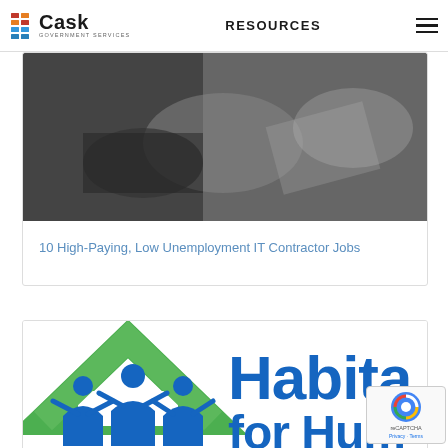Cask Government Services — RESOURCES
[Figure (photo): Black and white photo showing hands in a business or government setting, partially cropped]
10 High-Paying, Low Unemployment IT Contractor Jobs
[Figure (logo): Habitat for Humanity logo — green house icon with blue people figures and blue text reading 'Habitat for Humanity', partially cropped on right side]
[Figure (other): reCAPTCHA badge overlay in bottom-right corner]